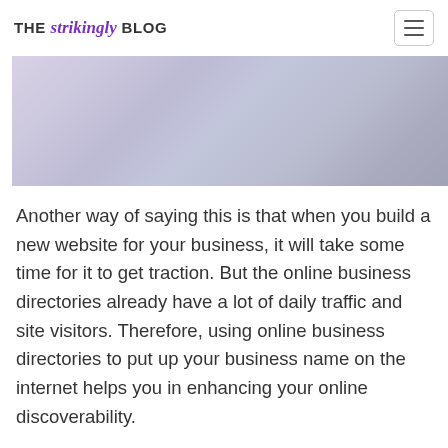THE strikingly BLOG
[Figure (photo): A blurred gradient background image with soft purple, lavender, and grey tones, partially visible with a white left border strip.]
Another way of saying this is that when you build a new website for your business, it will take some time for it to get traction. But the online business directories already have a lot of daily traffic and site visitors. Therefore, using online business directories to put up your business name on the internet helps you in enhancing your online discoverability.